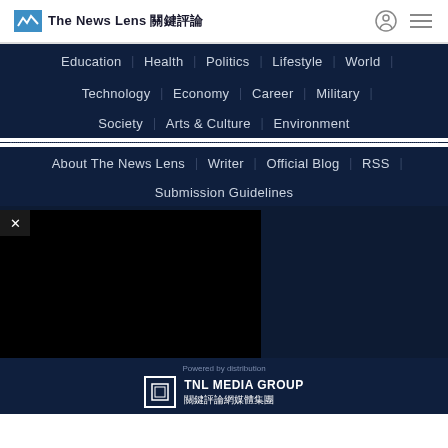The News Lens 關鍵評論
Education | Health | Politics | Lifestyle | World |
Technology | Economy | Career | Military |
Society | Arts & Culture | Environment
About The News Lens | Writer | Official Blog | RSS |
Submission Guidelines
[Figure (screenshot): Black video/ad block with close X button]
Powered by ... TNL MEDIA GROUP 關鍵評論網媒體集團